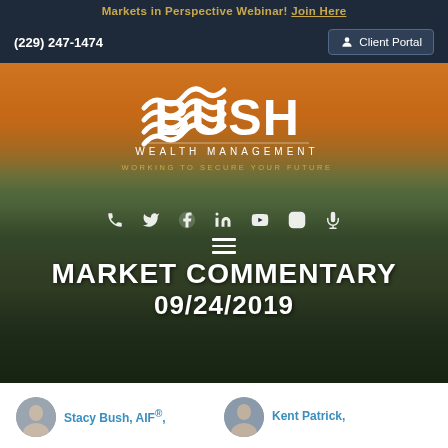Markets in Perspective Webinar! Join Here
(229) 247-1474
Client Portal
[Figure (photo): Bush Wealth Management logo with wave graphic, tagline 'WORKING TO SECURE YOUR FUTURE', social media icons (phone, Twitter, Facebook, LinkedIn, YouTube, Instagram, podcast), and aerial city background photo with warm sunset sky]
MARKET COMMENTARY 09/24/2019
Stacy Bush, AIF®,
Kent Patrick,